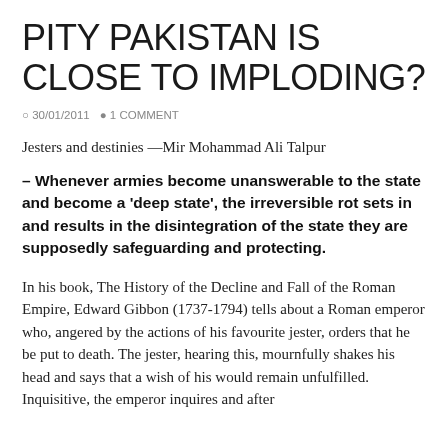PITY PAKISTAN IS CLOSE TO IMPLODING?
30/01/2011  1 COMMENT
Jesters and destinies —Mir Mohammad Ali Talpur
– Whenever armies become unanswerable to the state and become a 'deep state', the irreversible rot sets in and results in the disintegration of the state they are supposedly safeguarding and protecting.
In his book, The History of the Decline and Fall of the Roman Empire, Edward Gibbon (1737-1794) tells about a Roman emperor who, angered by the actions of his favourite jester, orders that he be put to death. The jester, hearing this, mournfully shakes his head and says that a wish of his would remain unfulfilled. Inquisitive, the emperor inquires and after